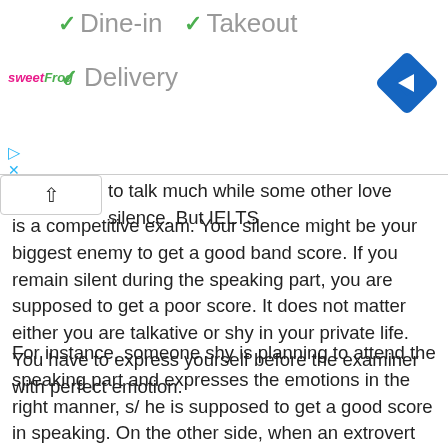[Figure (screenshot): Sweet Frog restaurant listing showing checkmarks for Dine-in, Takeout, and Delivery options, with a navigation/directions diamond icon on the right, play and close icons on the left, and the Sweet Frog logo.]
to talk much while some other love silence. But IELTS is a competitive exam. Your silence might be your biggest enemy to get a good band score. If you remain silent during the speaking part, you are supposed to get a poor score. It does not matter either you are talkative or shy in your private life. You have to express yourself before the examiner with perfect emotion.

For instance, someone shy is planning to attend the speaking part and expresses the emotions in the right manner, s/ he is supposed to get a good score in speaking. On the other side, when an extrovert becomes uncomfortable with the questions and cannot answer them rightly, obviously the examiner will assign a poor mark in this case. But it was not supposed to be so. An